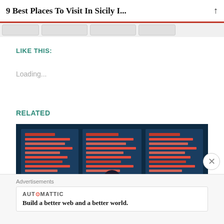9 Best Places To Visit In Sicily I...
LIKE THIS:
Loading...
RELATED
[Figure (photo): Person standing in front of large airport departure board displays showing flight information in blue and red LED text]
Advertisements
AUTOMATTIC
Build a better web and a better world.